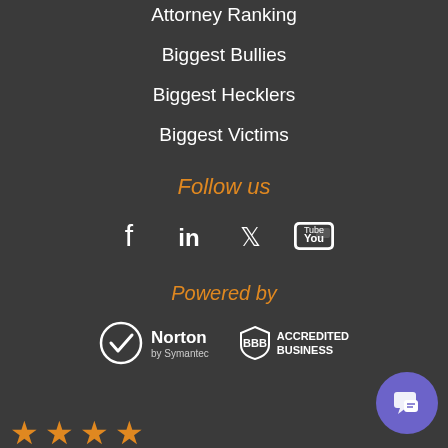Attorney Ranking
Biggest Bullies
Biggest Hecklers
Biggest Victims
Follow us
[Figure (infographic): Social media icons: Facebook, LinkedIn, Twitter, YouTube]
Powered by
[Figure (logo): Norton by Symantec logo and BBB Accredited Business logo]
[Figure (infographic): Four orange star rating icons at bottom left]
[Figure (infographic): Purple circular chat bubble button at bottom right]